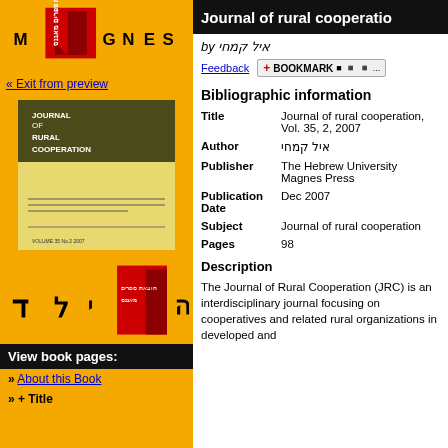[Figure (logo): Magnes Press logo with red and black emblem and letters M G N E S]
« Exit from preview
[Figure (illustration): Journal of Rural Cooperation book cover thumbnail, dark olive and yellow]
[Figure (logo): Hebrew letters Daleth logo with red Magnes emblem]
View book pages:
» About this Book
» + Title
Journal of rural cooperatio
by איל קמחי
Feedback   + BOOKMARK
Bibliographic information
| Field | Value |
| --- | --- |
| Title | Journal of rural cooperation, Vol. 35, 2, 2007 |
| Author | איל קמחי |
| Publisher | The Hebrew University Magnes Press |
| Publication Date | Dec 2007 |
| Subject | Journal of rural cooperation |
| Pages | 98 |
Description
The Journal of Rural Cooperation (JRC) is an interdisciplinary journal focusing on cooperatives and related rural organizations in developed and